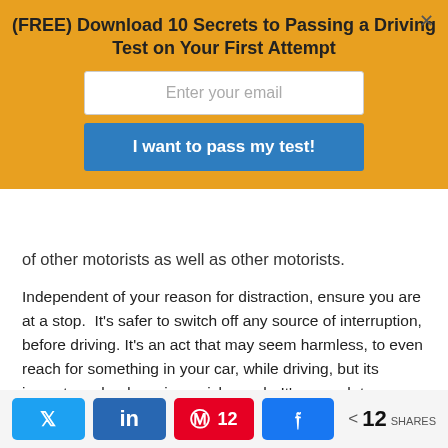(FREE) Download 10 Secrets to Passing a Driving Test on Your First Attempt
of other motorists as well as other motorists.
Independent of your reason for distraction, ensure you are at a stop.  It's safer to switch off any source of interruption, before driving. It's an act that may seem harmless, to even reach for something in your car, while driving, but its impact can land you in a grisly crash. It's enough to serve as a reason to park or wait until you reach your destination.
Wrapping Up
As a driving student, it's essential to enforce full responsibility when behind the wheel. For you to qualify for a learner's permit or a driving license, you'll need to exhibit paramount awareness of all the seemingly 'minute' things
12 SHARES